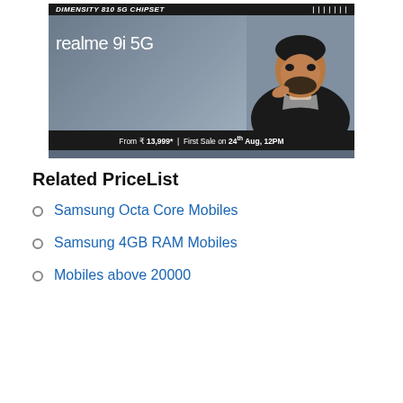[Figure (photo): Advertisement banner for realme 9i 5G smartphone. Top bar: 'DIMENSITY 810 5G CHIPSET'. Large white text 'realme 9i 5G' on grey background with photo of a man in black jacket. Bottom bar: 'From ₹ 13,999* | First Sale on 24th Aug, 12PM']
Related PriceList
Samsung Octa Core Mobiles
Samsung 4GB RAM Mobiles
Mobiles above 20000